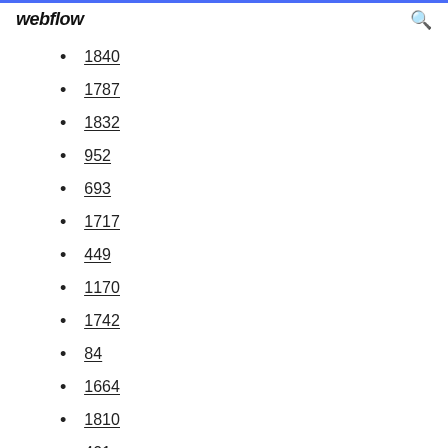webflow
1840
1787
1832
952
693
1717
449
1170
1742
84
1664
1810
401